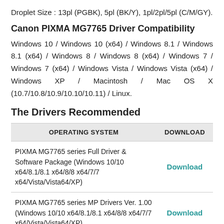Droplet Size : 13pl (PGBK), 5pl (BK/Y), 1pl/2pl/5pl (C/M/GY).
Canon PIXMA MG7765 Driver Compatibility
Windows 10 / Windows 10 (x64) / Windows 8.1 / Windows 8.1 (x64) / Windows 8 / Windows 8 (x64) / Windows 7 / Windows 7 (x64) / Windows Vista / Windows Vista (x64) / Windows XP / Macintosh / Mac OS X (10.7/10.8/10.9/10.10/10.11) / Linux.
The Drivers Recommended
| OPERATING SYSTEM | DOWNLOAD |
| --- | --- |
| PIXMA MG7765 series Full Driver & Software Package (Windows 10/10 x64/8.1/8.1 x64/8/8 x64/7/7 x64/Vista/Vista64/XP) | Download |
| PIXMA MG7765 series MP Drivers Ver. 1.00 (Windows 10/10 x64/8.1/8.1 x64/8/8 x64/7/7 x64/Vista/Vista64/XP) | Download |
| PIXMA MG7765 series XPS Printer Driver Ver. 5.90 (Windows 10/10 x64/8.1/8.1 x64/8/8 x64/7/7 | Download |